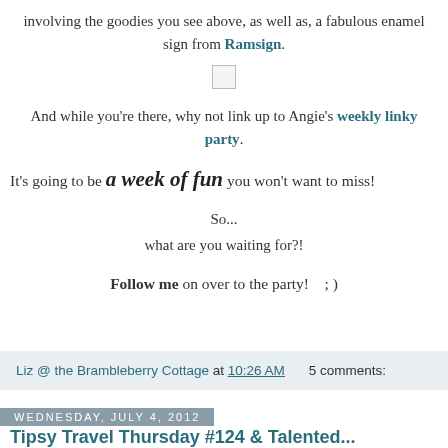involving the goodies you see above, as well as, a fabulous enamel sign from Ramsign.
[Figure (other): Small placeholder image/checkbox graphic]
And while you're there, why not link up to Angie's weekly linky party.
It's going to be a week of fun you won't want to miss!
So...
what are you waiting for?!
Follow me on over to the party!   ; )
Liz @ the Brambleberry Cottage at 10:26 AM    5 comments:
Wednesday, July 4, 2012
Tipsy Travel Thursday #124 & Talented...